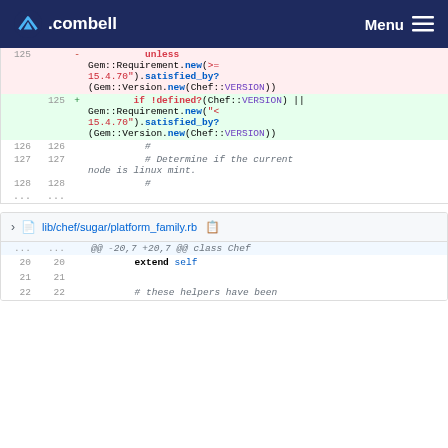combell  Menu
[Figure (screenshot): Code diff showing changes to a Ruby file. Removed lines (red background) show 'unless Gem::Requirement.new(">= 15.4.70").satisfied_by?(Gem::Version.new(Chef::VERSION))'. Added lines (green background) show 'if !defined?(Chef::VERSION) || Gem::Requirement.new("< 15.4.70").satisfied_by?(Gem::Version.new(Chef::VERSION))'. Context lines 126-128 show '#', '# Determine if the current node is linux mint.', '#'.]
lib/chef/sugar/platform_family.rb
[Figure (screenshot): Code diff header and beginning of platform_family.rb diff. Hunk: @@ -20,7 +20,7 @@ class Chef. Lines 20-22 shown: 'extend self', '', '# these helpers have been']